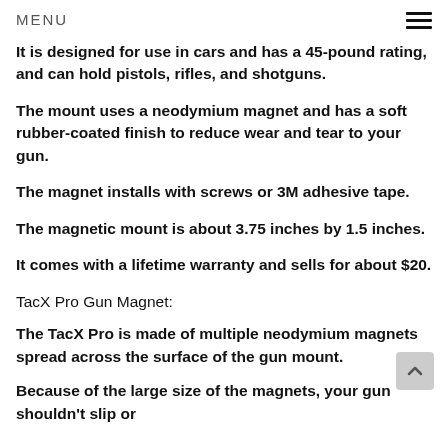MENU
It is designed for use in cars and has a 45-pound rating, and can hold pistols, rifles, and shotguns.
The mount uses a neodymium magnet and has a soft rubber-coated finish to reduce wear and tear to your gun.
The magnet installs with screws or 3M adhesive tape.
The magnetic mount is about 3.75 inches by 1.5 inches.
It comes with a lifetime warranty and sells for about $20.
TacX Pro Gun Magnet:
The TacX Pro is made of multiple neodymium magnets spread across the surface of the gun mount.
Because of the large size of the magnets, your gun shouldn't slip or